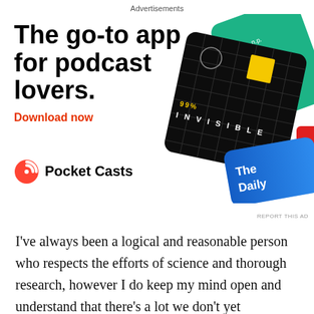Advertisements
[Figure (illustration): Pocket Casts app advertisement showing podcast app cards including 99% Invisible, The Daily, and others. Headline: The go-to app for podcast lovers. Download now. Pocket Casts logo.]
I've always been a logical and reasonable person who respects the efforts of science and thorough research, however I do keep my mind open and understand that there's a lot we don't yet understand about all aspects of science. Medicine is a part of the scientific field of study. While this LiveScience article points out that many fields of